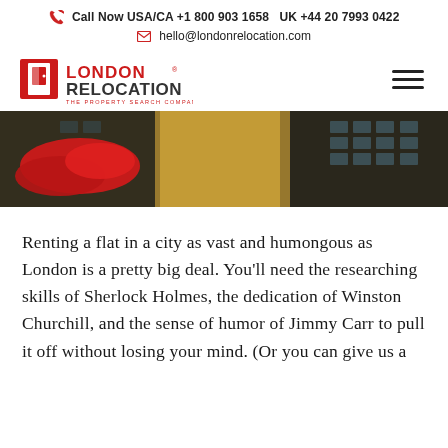Call Now USA/CA +1 800 903 1658   UK +44 20 7993 0422
hello@londonrelocation.com
[Figure (logo): London Relocation - The Property Search Company logo with red door icon]
[Figure (photo): Close-up photo of two people outdoors, one wearing a red scarf and one in a dark jacket, with a yellow building in the background]
Renting a flat in a city as vast and humongous as London is a pretty big deal. You'll need the researching skills of Sherlock Holmes, the dedication of Winston Churchill, and the sense of humor of Jimmy Carr to pull it off without losing your mind. (Or you can give us a